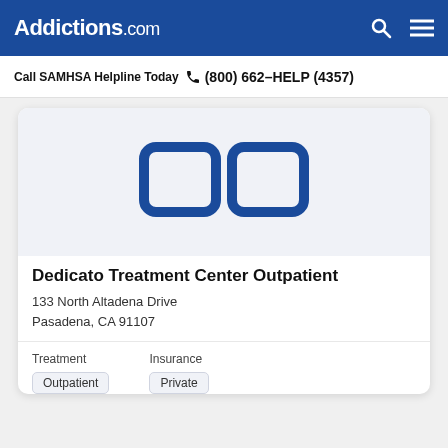Addictions.com
Call SAMHSA Helpline Today  (800) 662-HELP (4357)
[Figure (logo): Addictions.com placeholder logo icon in blue on light grey background]
Dedicato Treatment Center Outpatient
133 North Altadena Drive
Pasadena, CA 91107
Treatment
Outpatient
Insurance
Private
[Figure (logo): Addictions.com placeholder logo icon in blue on light grey background, partially visible]